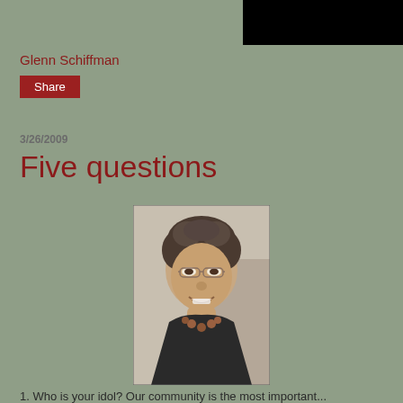[Figure (other): Black header bar in top right corner]
Glenn Schiffman
Share
3/26/2009
Five questions
[Figure (photo): Black and white portrait photo of a smiling woman with curly hair and glasses, wearing a necklace]
1. Who is your idol? Our community is the most important...